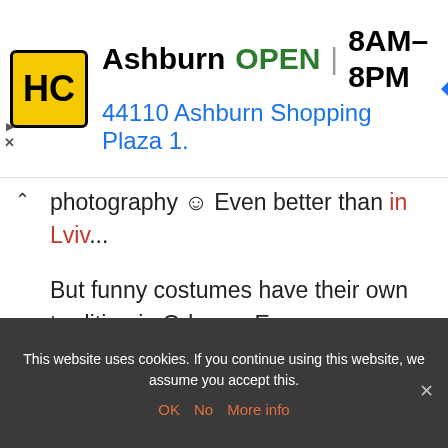[Figure (screenshot): Advertisement banner: HC logo (yellow/black), Ashburn OPEN 8AM-8PM, 44110 Ashburn Shopping Plaza 1., navigation arrow icon]
photography ☺ Even better than in Lviv...
But funny costumes have their own tradition in Odessa. Every year around the 1st of April the Humorina Festival (Гуморина) takes place. The highlight is a costume parade through Deribasivska Street accompanied by thousands of onlookers, roughly comparable to the Carnival in Germany.
This website uses cookies. If you continue using this website, we assume you accept this.
OK  No  More info